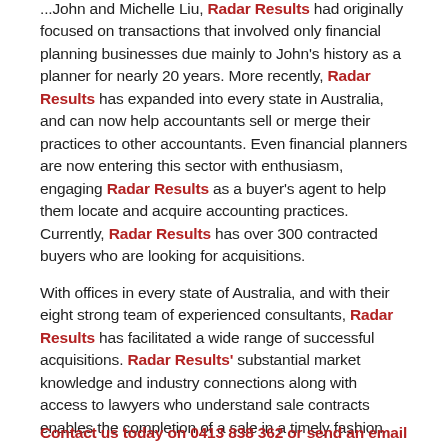...John and Michelle Liu, Radar Results had originally focused on transactions that involved only financial planning businesses due mainly to John's history as a planner for nearly 20 years. More recently, Radar Results has expanded into every state in Australia, and can now help accountants sell or merge their practices to other accountants. Even financial planners are now entering this sector with enthusiasm, engaging Radar Results as a buyer's agent to help them locate and acquire accounting practices. Currently, Radar Results has over 300 contracted buyers who are looking for acquisitions.
With offices in every state of Australia, and with their eight strong team of experienced consultants, Radar Results has facilitated a wide range of successful acquisitions. Radar Results' substantial market knowledge and industry connections along with access to lawyers who understand sale contracts enables the completion of a sale in a timely fashion.
Contact us today on 0413 838 362 or send an email